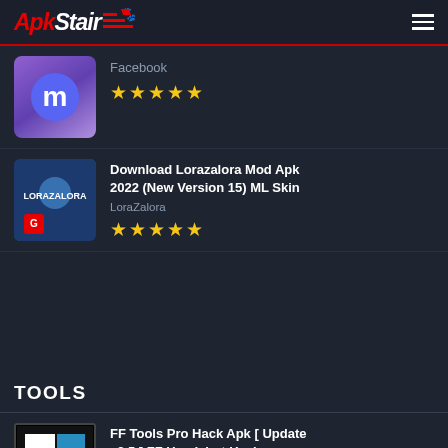ApkStair
Facebook ★★★★★
Download Lorazalora Mod Apk 2022 (New Version 15) ML Skin
LoraZalora
★★★★★
TOOLS
FF Tools Pro Hack Apk [ Update v2.5 ] FF Headshot Hack
★★★★★